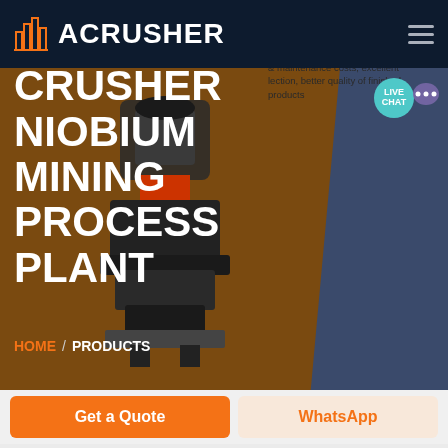ACRUSHER
NIOBIUM ORE CRUSHER NIOBIUM MINING PROCESS PLANT
[Figure (screenshot): Webpage screenshot showing the ACrusher website header with logo, hero section with brown and dark blue diagonal split, mining crusher machine image, and breadcrumb navigation HOME / PRODUCTS with LIVE CHAT bubble]
MRN Pendulum Roller Mill
& maintenance costs, excellent lection, better quality of finished products
HOME / PRODUCTS
Get a Quote
WhatsApp